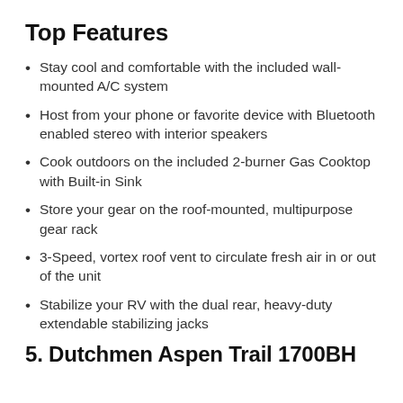Top Features
Stay cool and comfortable with the included wall-mounted A/C system
Host from your phone or favorite device with Bluetooth enabled stereo with interior speakers
Cook outdoors on the included 2-burner Gas Cooktop with Built-in Sink
Store your gear on the roof-mounted, multipurpose gear rack
3-Speed, vortex roof vent to circulate fresh air in or out of the unit
Stabilize your RV with the dual rear, heavy-duty extendable stabilizing jacks
5. Dutchmen Aspen Trail 1700BH